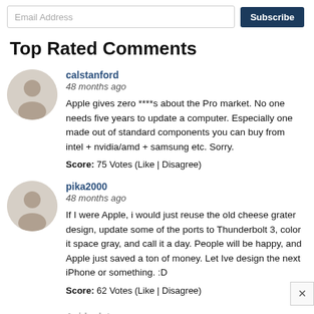Email Address | Subscribe
Top Rated Comments
calstanford
48 months ago
Apple gives zero ****s about the Pro market. No one needs five years to update a computer. Especially one made out of standard components you can buy from intel + nvidia/amd + samsung etc. Sorry.
Score: 75 Votes (Like | Disagree)
pika2000
48 months ago
If I were Apple, i would just reuse the old cheese grater design, update some of the ports to Thunderbolt 3, color it space gray, and call it a day. People will be happy, and Apple just saved a ton of money. Let Ive design the next iPhone or something. :D
Score: 62 Votes (Like | Disagree)
Acidsplat
48 months ago